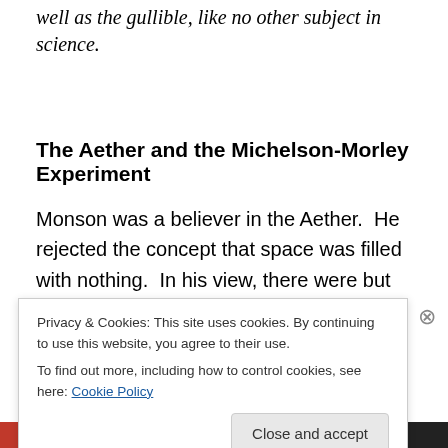well as the gullible, like no other subject in science.
The Aether and the Michelson-Morley Experiment
Monson was a believer in the Aether.  He rejected the concept that space was filled with nothing.  In his view, there were but two elements that made up the entire Universe: structured space and structured matter and the interaction between these two elements as they competed
Privacy & Cookies: This site uses cookies. By continuing to use this website, you agree to their use.
To find out more, including how to control cookies, see here: Cookie Policy

Close and accept